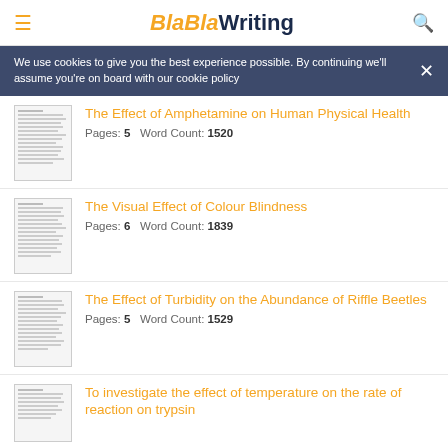BlaBlaWriting
We use cookies to give you the best experience possible. By continuing we'll assume you're on board with our cookie policy
The Effect of Amphetamine on Human Physical Health
Pages: 5   Word Count: 1520
The Visual Effect of Colour Blindness
Pages: 6   Word Count: 1839
The Effect of Turbidity on the Abundance of Riffle Beetles
Pages: 5   Word Count: 1529
To investigate the effect of temperature on the rate of reaction on trypsin